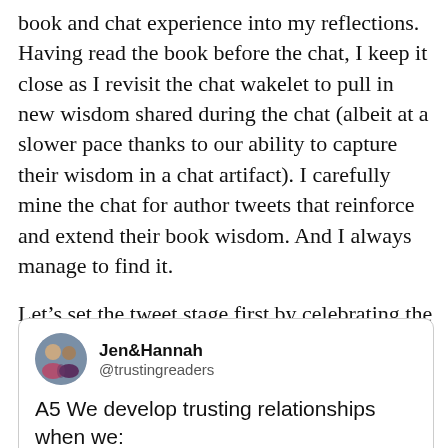book and chat experience into my reflections. Having read the book before the chat, I keep it close as I revisit the chat wakelet to pull in new wisdom shared during the chat (albeit at a slower pace thanks to our ability to capture their wisdom in a chat artifact). I carefully mine the chat for author tweets that reinforce and extend their book wisdom. And I always manage to find it.

Let's set the tweet stage first by celebrating the foundation of trust with examples:
[Figure (screenshot): Tweet from Jen&Hannah (@trustingreaders) beginning with 'A5 We develop trusting relationships when we: confer']